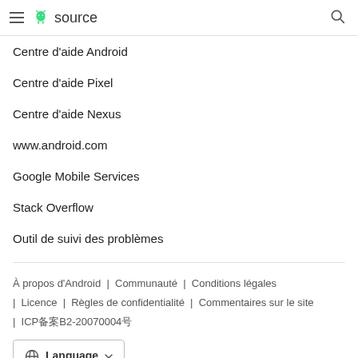≡ 🤖 source 🔍
Centre d'aide Android
Centre d'aide Pixel
Centre d'aide Nexus
www.android.com
Google Mobile Services
Stack Overflow
Outil de suivi des problèmes
À propos d'Android | Communauté | Conditions légales | Licence | Règles de confidentialité | Commentaires sur le site | ICP备案B2-20070004号